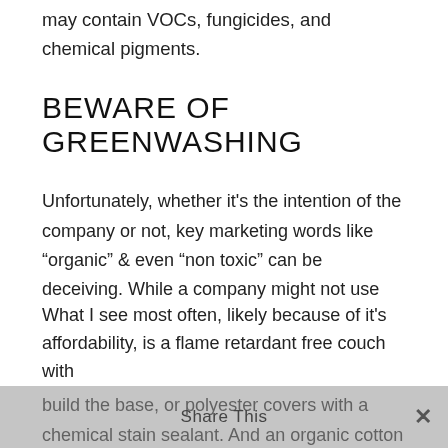may contain VOCs, fungicides, and chemical pigments.
BEWARE OF GREENWASHING
Unfortunately, whether it's the intention of the company or not, key marketing words like “organic” & even “non toxic” can be deceiving. While a company might not use flame retardants or polyurethane foams, for example, they may use press board (which often contains VOC-off-gassing glues) to build the base, or polyester covers with a chemical stain sealant. And an organic cotton cover can only take you so far...
What I see most often, likely because of it's affordability, is a flame retardant free couch with
Share This